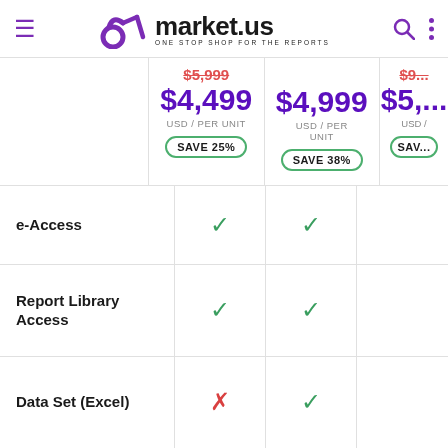market.us ONE STOP SHOP FOR THE REPORTS
| Feature | Plan 1 ($4,499 USD/PER UNIT, SAVE 25%) | Plan 2 ($4,999 USD/PER UNIT, SAVE 38%) | Plan 3 ($5,... USD/...) |
| --- | --- | --- | --- |
| e-Access | ✓ | ✓ |  |
| Report Library Access | ✓ | ✓ |  |
| Data Set (Excel) | ✗ | ✓ |  |
| Print | ✗ | ✓ |  |